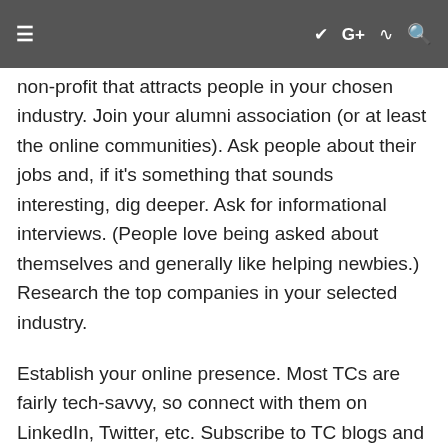≡  ✦  G+  )))  🔍
non-profit that attracts people in your chosen industry. Join your alumni association (or at least the online communities). Ask people about their jobs and, if it's something that sounds interesting, dig deeper. Ask for informational interviews. (People love being asked about themselves and generally like helping newbies.) Research the top companies in your selected industry.
Establish your online presence. Most TCs are fairly tech-savvy, so connect with them on LinkedIn, Twitter, etc. Subscribe to TC blogs and forums that interest you.